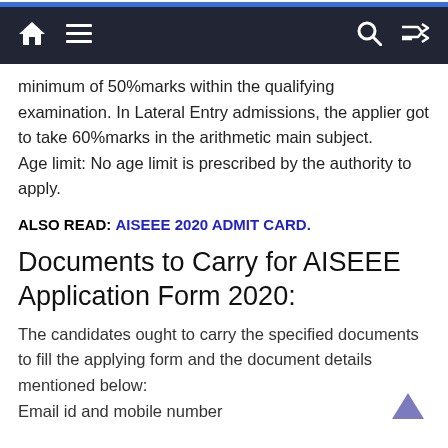Navigation bar with home, menu, search and shuffle icons
minimum of 50%marks within the qualifying examination. In Lateral Entry admissions, the applier got to take 60%marks in the arithmetic main subject.
Age limit: No age limit is prescribed by the authority to apply.
ALSO READ: AISEEE 2020 ADMIT CARD.
Documents to Carry for AISEEE Application Form 2020:
The candidates ought to carry the specified documents to fill the applying form and the document details mentioned below:
Email id and mobile number